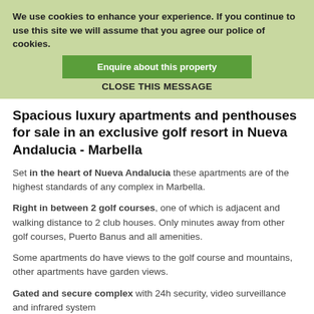We use cookies to enhance your experience. If you continue to use this site we will assume that you agree our police of cookies. Enquire about this property CLOSE THIS MESSAGE
Spacious luxury apartments and penthouses for sale in an exclusive golf resort in Nueva Andalucia - Marbella
Set in the heart of Nueva Andalucia these apartments are of the highest standards of any complex in Marbella.
Right in between 2 golf courses, one of which is adjacent and walking distance to 2 club houses. Only minutes away from other golf courses, Puerto Banus and all amenities.
Some apartments do have views to the golf course and mountains, other apartments have garden views.
Gated and secure complex with 24h security, video surveillance and infrared system